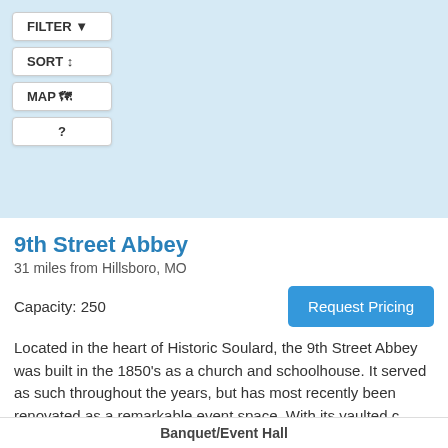[Figure (map): Light blue map area background with filter/sort/map/help buttons overlaid on the left side]
9th Street Abbey
31 miles from Hillsboro, MO
Capacity: 250
Located in the heart of Historic Soulard, the 9th Street Abbey was built in the 1850's as a church and schoolhouse. It served as such throughout the years, but has most recently been renovated as a remarkable event space. With its vaulted c
Banquet/Event Hall